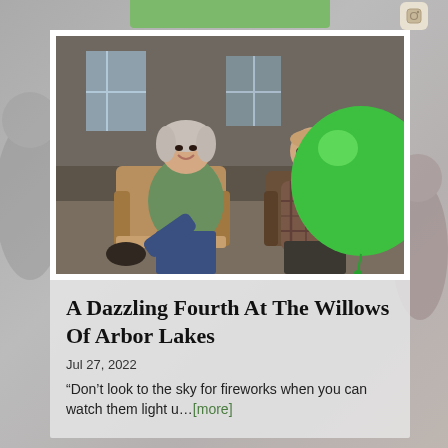[Figure (photo): Two elderly people sitting in armchairs playing with a large green balloon in what appears to be a senior living facility common room. The woman on the left is wearing a green sweatshirt and jeans, laughing. The man on the right is wearing a plaid shirt and dark pants. A large bright green balloon is prominent on the right side.]
A Dazzling Fourth At The Willows Of Arbor Lakes
Jul 27, 2022
“Don’t look to the sky for fireworks when you can watch them light u…[more]